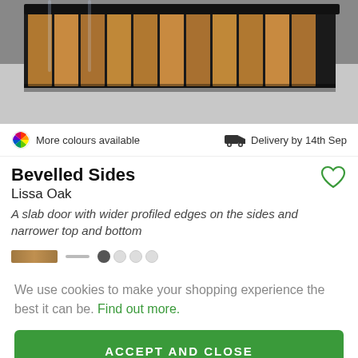[Figure (photo): Kitchen with wood-panelled cabinet fronts and black countertop, partial view from above.]
More colours available
Delivery by 14th Sep
Bevelled Sides
Lissa Oak
A slab door with wider profiled edges on the sides and narrower top and bottom
We use cookies to make your shopping experience the best it can be. Find out more.
ACCEPT AND CLOSE
CUSTOM SETTINGS